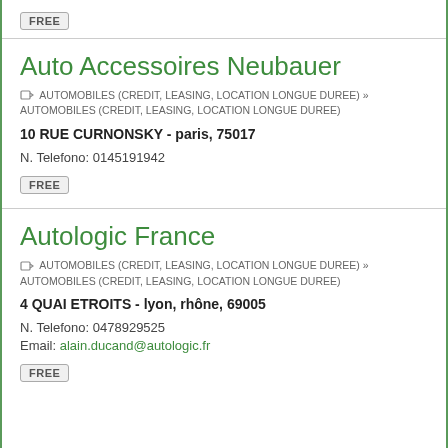FREE
Auto Accessoires Neubauer
AUTOMOBILES (CREDIT, LEASING, LOCATION LONGUE DUREE) » AUTOMOBILES (CREDIT, LEASING, LOCATION LONGUE DUREE)
10 RUE CURNONSKY - paris, 75017
N. Telefono: 0145191942
FREE
Autologic France
AUTOMOBILES (CREDIT, LEASING, LOCATION LONGUE DUREE) » AUTOMOBILES (CREDIT, LEASING, LOCATION LONGUE DUREE)
4 QUAI ETROITS - lyon, rhône, 69005
N. Telefono: 0478929525
Email: alain.ducand@autologic.fr
FREE